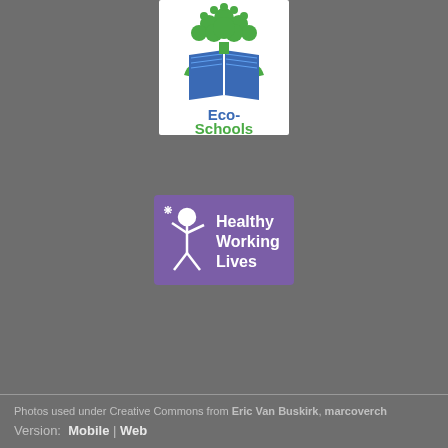[Figure (logo): Eco-Schools logo: green tree above an open blue book, text 'Eco-Schools' below in blue and green]
[Figure (logo): Healthy Working Lives logo: purple rectangle with white stick figure and text 'Healthy Working Lives']
Select Language (Google Translate widget)
Photos used under Creative Commons from Eric Van Buskirk, marcoverch
Version: Mobile | Web